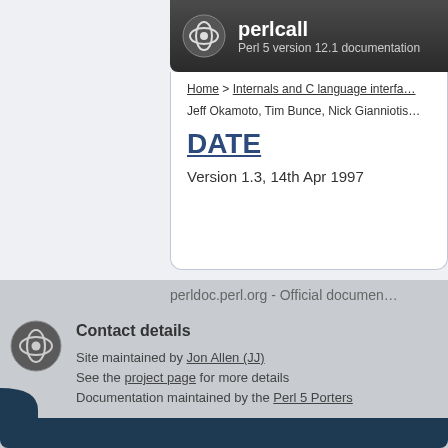perlcall — Perl 5 version 12.1 documentation
Home > Internals and C language interfa...
Jeff Okamoto, Tim Bunce, Nick Gianniotis...
DATE
Version 1.3, 14th Apr 1997
perldoc.perl.org - Official documen...
Contact details
Site maintained by Jon Allen (JJ)
See the project page for more details
Documentation maintained by the Perl 5 Porters